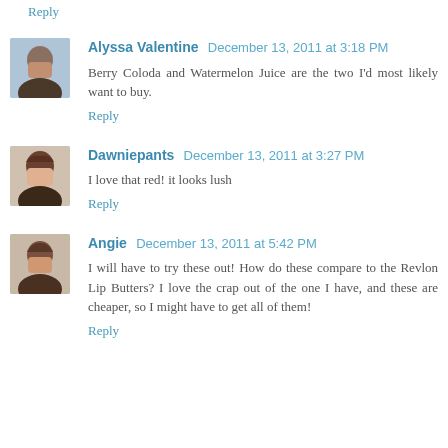Reply
Alyssa Valentine  December 13, 2011 at 3:18 PM
Berry Coloda and Watermelon Juice are the two I'd most likely want to buy.
Reply
Dawniepants  December 13, 2011 at 3:27 PM
I love that red! it looks lush
Reply
Angie  December 13, 2011 at 5:42 PM
I will have to try these out! How do these compare to the Revlon Lip Butters? I love the crap out of the one I have, and these are cheaper, so I might have to get all of them!
Reply